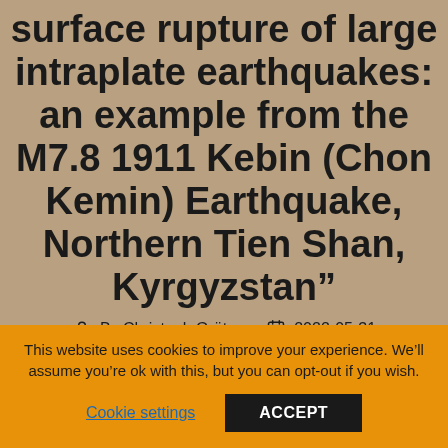surface rupture of large intraplate earthquakes: an example from the M7.8 1911 Kebin (Chon Kemin) Earthquake, Northern Tien Shan, Kyrgyzstan”
By Christoph Grützner   2022-05-31
No Comments
This website uses cookies to improve your experience. We’ll assume you’re ok with this, but you can opt-out if you wish.
Cookie settings   ACCEPT